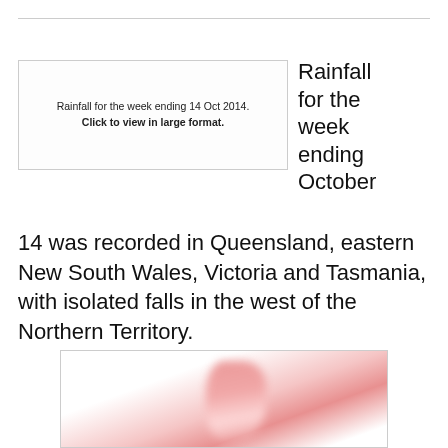[Figure (other): Box with text: 'Rainfall for the week ending 14 Oct 2014. Click to view in large format.']
Rainfall for the week ending October 14 was recorded in Queensland, eastern New South Wales, Victoria and Tasmania, with isolated falls in the west of the Northern Territory.
[Figure (photo): A blurry close-up photo, partially visible at bottom of page, showing a pinkish-red blurred shape on white background.]